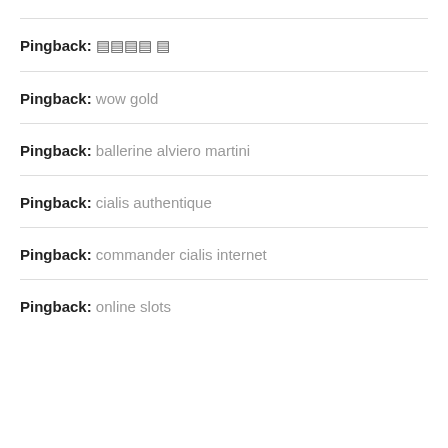Pingback: 文字化け？
Pingback: wow gold
Pingback: ballerine alviero martini
Pingback: cialis authentique
Pingback: commander cialis internet
Pingback: online slots